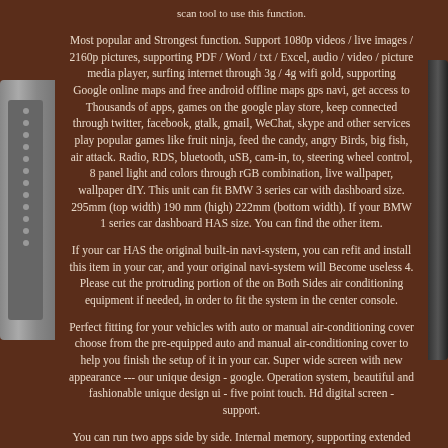scan tool to use this function.
Most popular and Strongest function. Support 1080p videos / live images / 2160p pictures, supporting PDF / Word / txt / Excel, audio / video / picture media player, surfing internet through 3g / 4g wifi gold, supporting Google online maps and free android offline maps gps navi, get access to Thousands of apps, games on the google play store, keep connected through twitter, facebook, gtalk, gmail, WeChat, skype and other services play popular games like fruit ninja, feed the candy, angry Birds, big fish, air attack. Radio, RDS, bluetooth, uSB, cam-in, to, steering wheel control, 8 panel light and colors through rGB combination, live wallpaper, wallpaper dIY. This unit can fit BMW 3 series car with dashboard size. 295mm (top width) 190 mm (high) 222mm (bottom width). If your BMW 1 series car dashboard HAS size. You can find the other item.
If your car HAS the original built-in navi-system, you can refit and install this item in your car, and your original navi-system will Become useless 4. Please cut the protruding portion of the on Both Sides air conditioning equipment if needed, in order to fit the system in the center console.
Perfect fitting for your vehicles with auto or manual air-conditioning cover choose from the pre-equipped auto and manual air-conditioning cover to help you finish the setup of it in your car. Super wide screen with new appearance --- our unique design - google. Operation system, beautiful and fashionable unique design ui - five point touch. Hd digital screen - support.
You can run two apps side by side. Internal memory, supporting extended up to 3 usb stick. Music / radio / bt-stereo player and clock / date / week - built-in clock and calendar, clock / date / week / time adjustable area, can